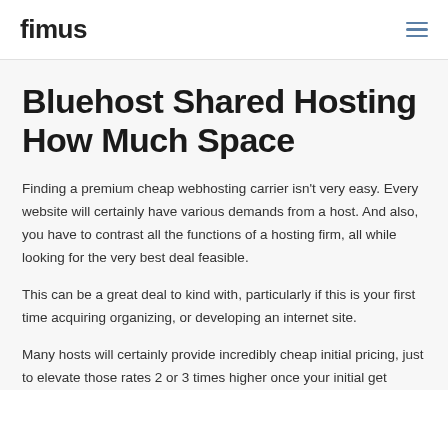fimus
Bluehost Shared Hosting How Much Space
Finding a premium cheap webhosting carrier isn't very easy. Every website will certainly have various demands from a host. And also, you have to contrast all the functions of a hosting firm, all while looking for the very best deal feasible.
This can be a great deal to kind with, particularly if this is your first time acquiring organizing, or developing an internet site.
Many hosts will certainly provide incredibly cheap initial pricing, just to elevate those rates 2 or 3 times higher once your initial get